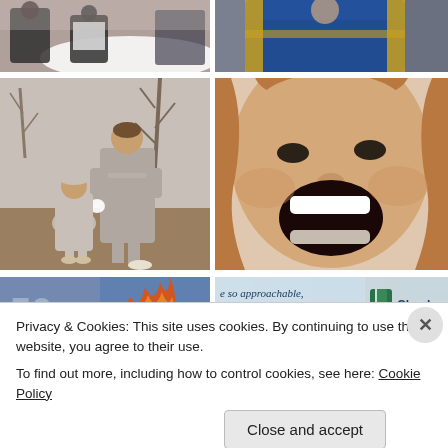[Figure (photo): Top-left photo: dark figures seated at a table with white tablecloth, partial view]
[Figure (photo): Top-right photo: person wearing blue and gold sports jacket, seated on couch]
[Figure (photo): Mid-left photo: vintage photograph of a woman in grey coat and a young girl in dress, standing outdoors with bare trees]
[Figure (photo): Mid-right photo: close-up of a woman with long reddish-brown hair laughing/screaming with mouth wide open]
[Figure (photo): Bottom-left photo: abstract image with fire/flames and blue tones]
[Figure (photo): Bottom-right photo: Chuckanut logo banner with text 'so approachable, willing to share its about']
Privacy & Cookies: This site uses cookies. By continuing to use this website, you agree to their use.
To find out more, including how to control cookies, see here: Cookie Policy
Close and accept